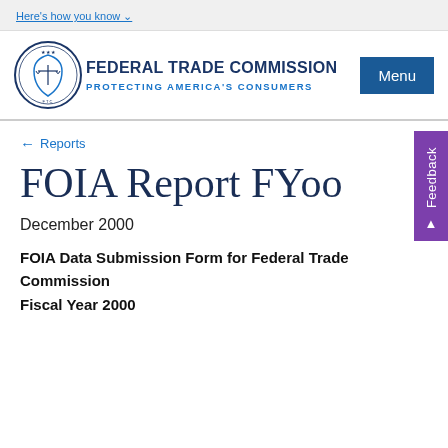Here's how you know
[Figure (logo): Federal Trade Commission seal/logo - circular blue emblem with scales of justice]
FEDERAL TRADE COMMISSION
PROTECTING AMERICA'S CONSUMERS
Menu
← Reports
FOIA Report FYoo
December 2000
FOIA Data Submission Form for Federal Trade Commission
Fiscal Year 2000